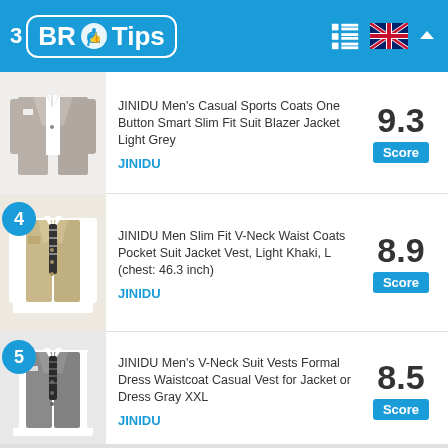3 BR Tips
[Figure (photo): JINIDU Men's Casual Sports Coats One Button Smart Slim Fit Suit Blazer in Light Grey color, product photo]
JINIDU Men's Casual Sports Coats One Button Smart Slim Fit Suit Blazer Jacket Light Grey
JINIDU
9.3 Score
[Figure (photo): JINIDU Men Slim Fit V-Neck Waist Coats Pocket Suit Jacket Vest in Light Khaki color, product photo]
JINIDU Men Slim Fit V-Neck Waist Coats Pocket Suit Jacket Vest, Light Khaki, L (chest: 46.3 inch)
JINIDU
8.9 Score
[Figure (photo): JINIDU Men's V-Neck Suit Vests Formal Dress Waistcoat Casual Vest for Jacket or Dress Gray XXL, product photo]
JINIDU Men's V-Neck Suit Vests Formal Dress Waistcoat Casual Vest for Jacket or Dress Gray XXL
JINIDU
8.5 Score